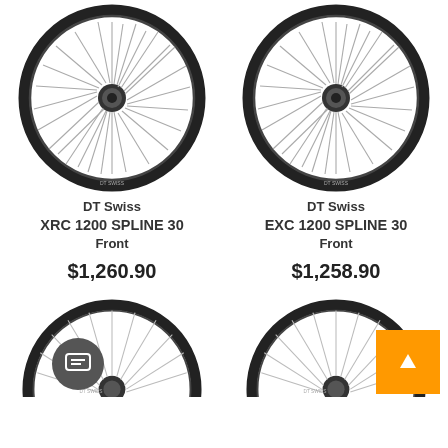[Figure (photo): DT Swiss XRC 1200 SPLINE 30 Front bicycle wheel - black carbon rim with silver spokes]
DT Swiss
XRC 1200 SPLINE 30
Front
$1,260.90
[Figure (photo): DT Swiss EXC 1200 SPLINE 30 Front bicycle wheel - black carbon rim with silver spokes]
DT Swiss
EXC 1200 SPLINE 30
Front
$1,258.90
[Figure (photo): Partial view of a bicycle wheel (bottom-left)]
[Figure (photo): Partial view of a bicycle wheel (bottom-right)]